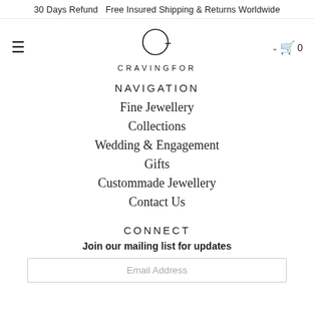30 Days Refund  Free Insured Shipping & Returns Worldwide
[Figure (logo): CRAVINGFOR logo: circular C letter mark above the text CRAVINGFOR in spaced capitals]
NAVIGATION
Fine Jewellery
Collections
Wedding & Engagement
Gifts
Custommade Jewellery
Contact Us
CONNECT
Join our mailing list for updates
Email Address